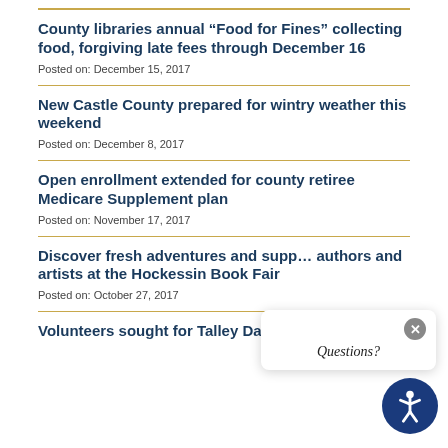County libraries annual “Food for Fines” collecting food, forgiving late fees through December 16
Posted on: December 15, 2017
New Castle County prepared for wintry weather this weekend
Posted on: December 8, 2017
Open enrollment extended for county retiree Medicare Supplement plan
Posted on: November 17, 2017
Discover fresh adventures and support local authors and artists at the Hockessin Book Fair
Posted on: October 27, 2017
Volunteers sought for Talley Day Bark Park